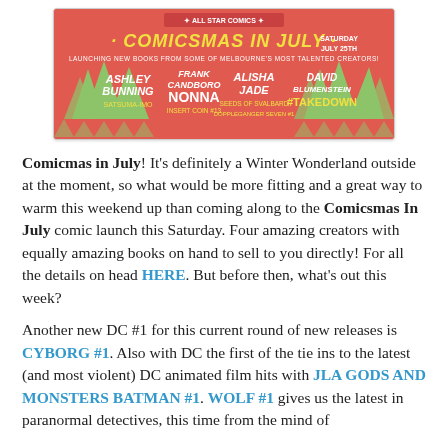[Figure (illustration): Comicmas in July promotional banner from All Star Comics. Red background with green Christmas tree silhouettes. Features names Ashley Bunning (Satsuma-imo), Frank Candboro (Nonna - Insert Coin #13), Alisha Jade (Seeds of Svalbard / Doppleganger Seven #1), David Blumenstein (#Takedown). Text: SATURDAY JULY 25TH. Launching new books from some of Melbourne's most talented creators.]
Comicmas in July! It's definitely a Winter Wonderland outside at the moment, so what would be more fitting and a great way to warm this weekend up than coming along to the Comicsmas In July comic launch this Saturday. Four amazing creators with equally amazing books on hand to sell to you directly! For all the details on head HERE. But before then, what's out this week?

Another new DC #1 for this current round of new releases is CYBORG #1. Also with DC the first of the tie ins to the latest (and most violent) DC animated film hits with JLA GODS AND MONSTERS BATMAN #1. WOLF #1 gives us the latest in paranormal detectives, this time from the mind of